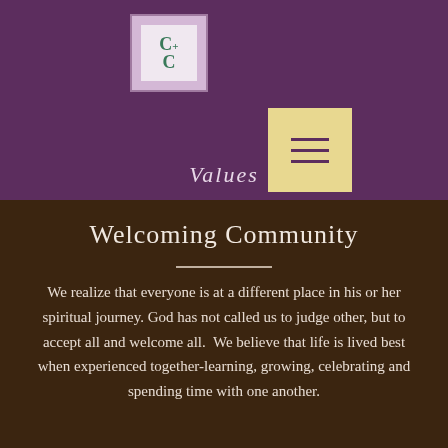[Figure (logo): CLC church logo in a decorative box with lavender border on purple background]
[Figure (other): Hamburger menu icon — three horizontal lines on a pale yellow square background]
Values
Welcoming Community
We realize that everyone is at a different place in his or her spiritual journey. God has not called us to judge other, but to accept all and welcome all.  We believe that life is lived best when experienced together-learning, growing, celebrating and spending time with one another.